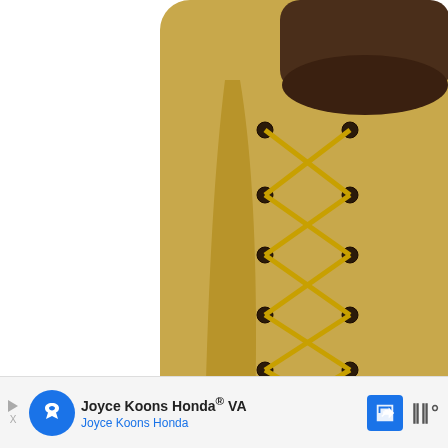[Figure (photo): Close-up product photo of a tan/wheat-colored lace-up work boot with yellow laces and brown rubber lug sole, on white background. A blue circular heart/favorite button and a white circular share button are overlaid on the right side.]
WHAT'S NEXT → 7 Trendy & Stylish Vega...
Joyce Koons Honda® VA
Joyce Koons Honda